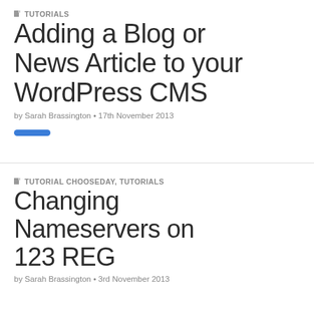TUTORIALS
Adding a Blog or News Article to your WordPress CMS
by Sarah Brassington • 17th November 2013
TUTORIAL CHOOSEDAY, TUTORIALS
Changing Nameservers on 123 REG
by Sarah Brassington • 3rd November 2013